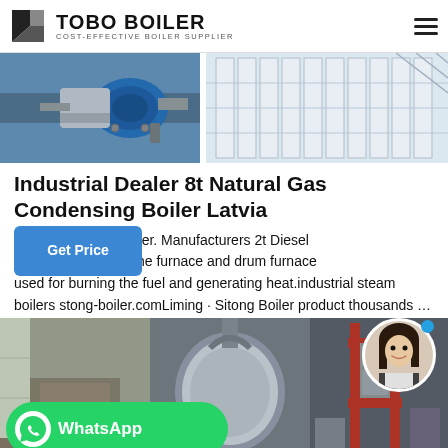TOBO BOILER — COST-EFFECTIVE BOILER SUPPLIER
[Figure (photo): Two industrial boiler images side by side: left shows a blue electric motor/burner assembly, right shows white industrial radiator panels]
Industrial Dealer 8t Natural Gas Condensing Boiler Latvia
ed boiler manufacturer. Manufacturers 2t Diesel boiler incorporates the furnace and drum furnace used for burning the fuel and generating heat.industrial steam boilers stong-boiler.comLiming · Sitong Boiler product thousands …
[Figure (photo): Industrial boiler facility images: left shows a corridor with pipes, center shows large cylindrical boiler tank, right shows red-framed industrial boiler equipment. WhatsApp contact button overlay at bottom-left, chat assistant avatar at bottom-right.]